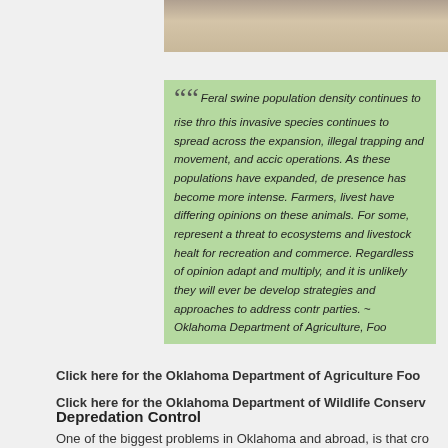[Figure (photo): Sandy/rocky ground photo strip, partial view at top of page]
Feral swine population density continues to rise throughout. this invasive species continues to spread across the expansion, illegal trapping and movement, and accidental operations. As these populations have expanded, de presence has become more intense. Farmers, livestc have differing opinions on these animals. For some, represent a threat to ecosystems and livestock healt for recreation and commerce. Regardless of opinion adapt and multiply, and it is unlikely they will ever be develop strategies and approaches to address contr parties. ~ Oklahoma Department of Agriculture, Foo
Click here for the Oklahoma Department of Agriculture Foo
Click here for the Oklahoma Department of Wildlife Conserv
Depredation Control
One of the biggest problems in Oklahoma and abroad, is that cro